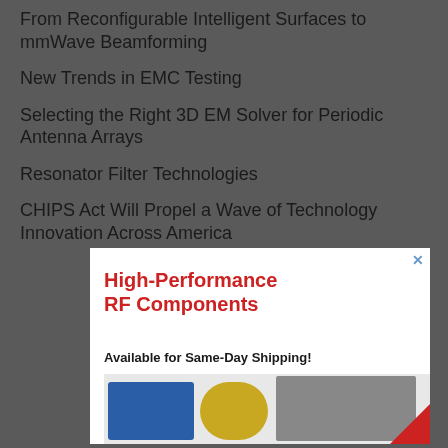From Reconfigurable Intelligent Surfaces to mmWave Beamforming
New Trends in EMC Testing
Selecting the Right 3D EM Solver for Periodic Antenna Arrays
Resonator Filter Technologies
CHIPS Act Will Propel a Wave of Technology Innovation Across America
[Figure (illustration): Advertisement banner for High-Performance RF Components Available for Same-Day Shipping, showing various RF component products including a blue device, gold connector, cables, and other components.]